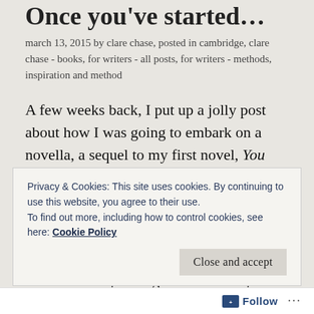Once you've started...
march 13, 2015 by clare chase, posted in cambridge, clare chase - books, for writers - all posts, for writers - methods, inspiration and method
A few weeks back, I put up a jolly post about how I was going to embark on a novella, a sequel to my first novel, You Think You Know Me.
I've begun a Cambridge-based mystery series since completing my debut. I find the city fascinating; it's such a place of contrasts. But, having taken a break, I was looking forward to revisiting Anna, and some of the
Privacy & Cookies: This site uses cookies. By continuing to use this website, you agree to their use.
To find out more, including how to control cookies, see here: Cookie Policy
Close and accept
Follow